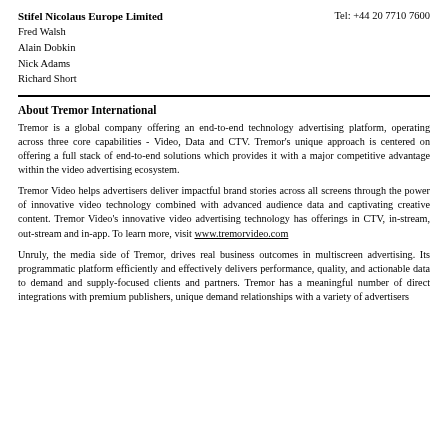Stifel Nicolaus Europe Limited   Tel: +44 20 7710 7600
Fred Walsh
Alain Dobkin
Nick Adams
Richard Short
About Tremor International
Tremor is a global company offering an end-to-end technology advertising platform, operating across three core capabilities - Video, Data and CTV. Tremor's unique approach is centered on offering a full stack of end-to-end solutions which provides it with a major competitive advantage within the video advertising ecosystem.
Tremor Video helps advertisers deliver impactful brand stories across all screens through the power of innovative video technology combined with advanced audience data and captivating creative content. Tremor Video's innovative video advertising technology has offerings in CTV, in-stream, out-stream and in-app. To learn more, visit www.tremorvideo.com
Unruly, the media side of Tremor, drives real business outcomes in multiscreen advertising. Its programmatic platform efficiently and effectively delivers performance, quality, and actionable data to demand and supply-focused clients and partners. Tremor has a meaningful number of direct integrations with premium publishers, unique demand relationships with a variety of advertisers